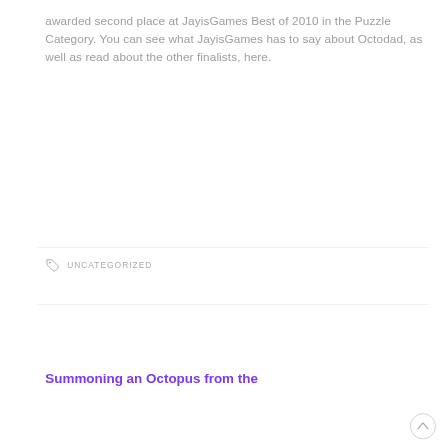awarded second place at JayisGames Best of 2010 in the Puzzle Category. You can see what JayisGames has to say about Octodad, as well as read about the other finalists, here.
UNCATEGORIZED
Summoning an Octopus from the